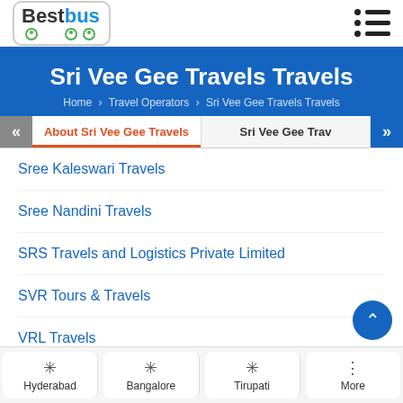BestBus
Sri Vee Gee Travels Travels
Home > Travel Operators > Sri Vee Gee Travels Travels
About Sri Vee Gee Travels | Sri Vee Gee Trav
Sree Kaleswari Travels
Sree Nandini Travels
SRS Travels and Logistics Private Limited
SVR Tours & Travels
VRL Travels
View All →
Hyderabad | Bangalore | Tirupati | More